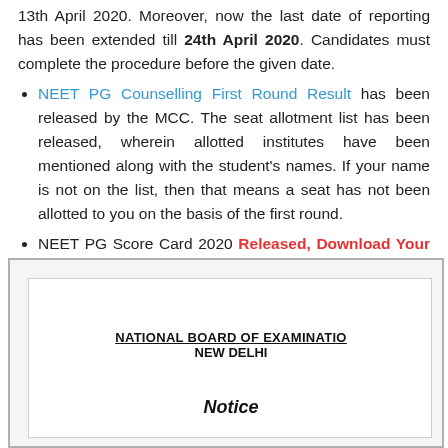13th April 2020. Moreover, now the last date of reporting has been extended till 24th April 2020. Candidates must complete the procedure before the given date.
NEET PG Counselling First Round Result has been released by the MCC. The seat allotment list has been released, wherein allotted institutes have been mentioned along with the student's names. If your name is not on the list, then that means a seat has not been allotted to you on the basis of the first round.
NEET PG Score Card 2020 Released, Download Your NBE NEET PG Scorecard now.
[Figure (other): Partial view of an official document from National Board of Examinations, New Delhi, showing a Notice heading]